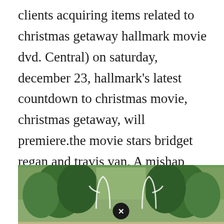clients acquiring items related to christmas getaway hallmark movie dvd. Central) on saturday, december 23, hallmark's latest countdown to christmas movie, christmas getaway, will premiere.the movie stars bridget regan and travis van. A mishap with a computer accidentally books them for the same cabin at the same time. A christmas tree grows in colorado stream on the global tv app.
[Figure (photo): Outdoor photo with green trees/plants and a close button (X in black circle) overlaid at the bottom center]